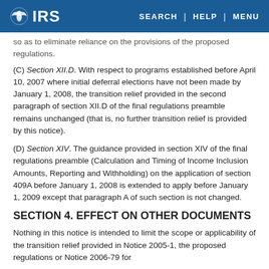IRS | SEARCH | HELP | MENU
so as to eliminate reliance on the provisions of the proposed regulations.
(C) Section XII.D. With respect to programs established before April 10, 2007 where initial deferral elections have not been made by January 1, 2008, the transition relief provided in the second paragraph of section XII.D of the final regulations preamble remains unchanged (that is, no further transition relief is provided by this notice).
(D) Section XIV. The guidance provided in section XIV of the final regulations preamble (Calculation and Timing of Income Inclusion Amounts, Reporting and Withholding) on the application of section 409A before January 1, 2008 is extended to apply before January 1, 2009 except that paragraph A of such section is not changed.
SECTION 4. EFFECT ON OTHER DOCUMENTS
Nothing in this notice is intended to limit the scope or applicability of the transition relief provided in Notice 2005-1, the proposed regulations or Notice 2006-79 for...